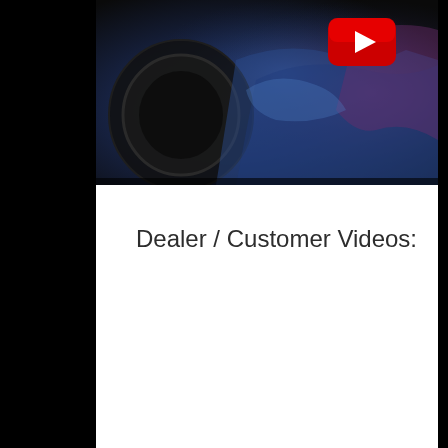[Figure (screenshot): Video thumbnail with dark/blue-purple tones showing what appears to be a mechanical or industrial scene, with a YouTube play button overlay in the upper right area.]
Dealer / Customer Videos: